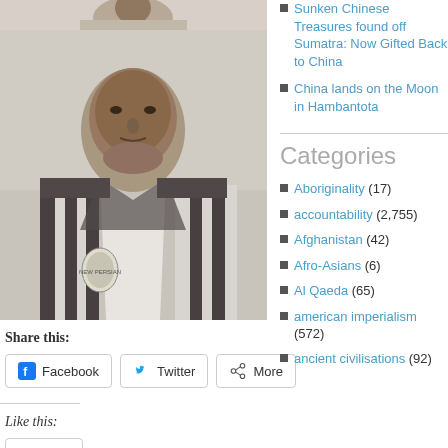[Figure (photo): Black and white photo top strip - partial view from above]
[Figure (photo): Black and white portrait photo of a young man wearing a striped sports jacket with a badge/crest on it]
Share this:
Facebook
Twitter
More
Like this:
Like
Sunken Chinese Treasures found off Sumatra: Now Gifted Back to China
China lands on the Moon in Hambantota
Categories
Aboriginality (17)
accountability (2,755)
Afghanistan (42)
Afro-Asians (6)
Al Qaeda (65)
american imperialism (572)
ancient civilisations (92)